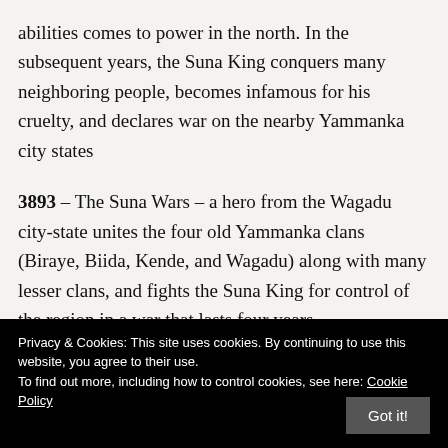abilities comes to power in the north. In the subsequent years, the Suna King conquers many neighboring people, becomes infamous for his cruelty, and declares war on the nearby Yammanka city states
3893 – The Suna Wars – a hero from the Wagadu city-state unites the four old Yammanka clans (Biraye, Biida, Kende, and Wagadu) along with many lesser clans, and fights the Suna King for control of the region in a war that lasts four years
Privacy & Cookies: This site uses cookies. By continuing to use this website, you agree to their use. To find out more, including how to control cookies, see here: Cookie Policy